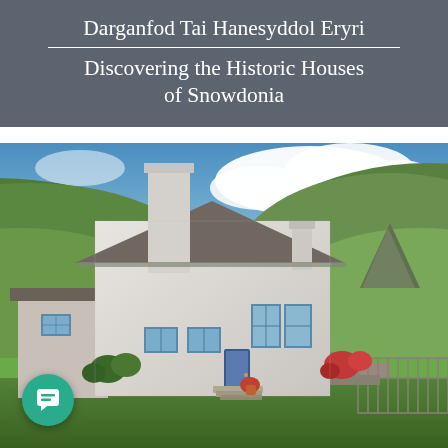Darganfod Tai Hanesyddol Eryri / Discovering the Historic Houses of Snowdonia
[Figure (photo): Photograph of a traditional whitewashed Welsh stone farmhouse with a tall chimney stack, set against green hills and a blue cloudy sky in Snowdonia. The house has a dark slate roof and blue-painted window frames. A green lawn is visible in the foreground.]